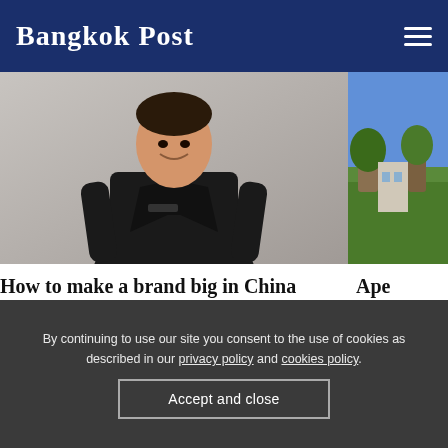Bangkok Post
[Figure (photo): Person in black suit jacket and black shirt, smiling, standing against a light gray background. A second partially visible photo shows an outdoor scene with green grass.]
How to make a brand big in China
Ape
LIFE
By continuing to use our site you consent to the use of cookies as described in our privacy policy and cookies policy.
Accept and close